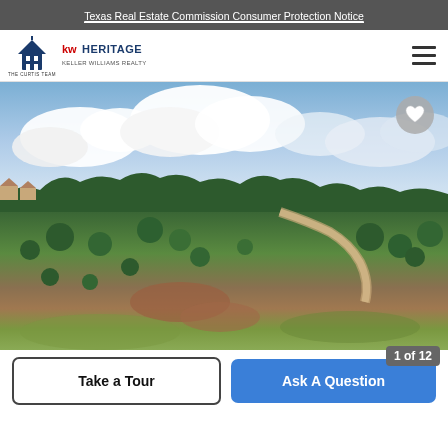Texas Real Estate Commission Consumer Protection Notice
[Figure (logo): The Curtis Team Real Estate and KW Heritage Keller Williams Realty logos]
[Figure (photo): Aerial landscape photo of rolling hills with scattered oak trees, reddish-brown soil, green grassland, and a winding road through wooded terrain under a partly cloudy sky]
Take a Tour
Ask A Question
1 of 12